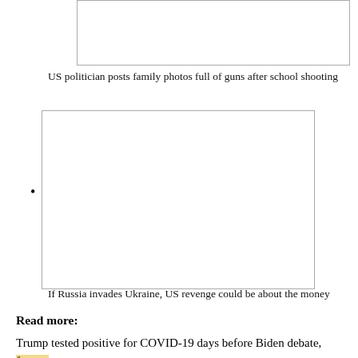[Figure (photo): Partially visible image box at top of page (cropped)]
US politician posts family photos full of guns after school shooting
[Figure (photo): Large empty/white image box with bullet point to the left]
If Russia invades Ukraine, US revenge could be about the money
Read more:
Trump tested positive for COVID-19 days before Biden debate, former